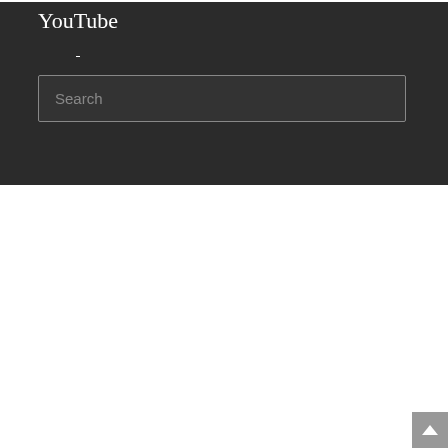YouTube
[Figure (screenshot): Search input box with placeholder text 'Search' on dark background]